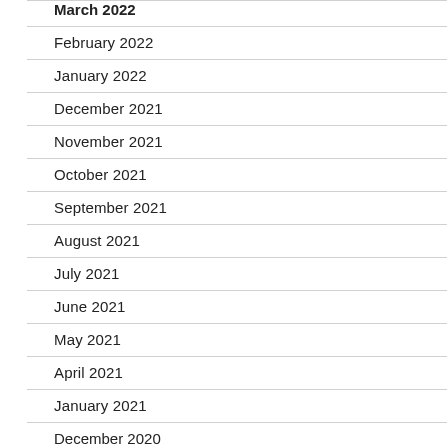March 2022
February 2022
January 2022
December 2021
November 2021
October 2021
September 2021
August 2021
July 2021
June 2021
May 2021
April 2021
January 2021
December 2020